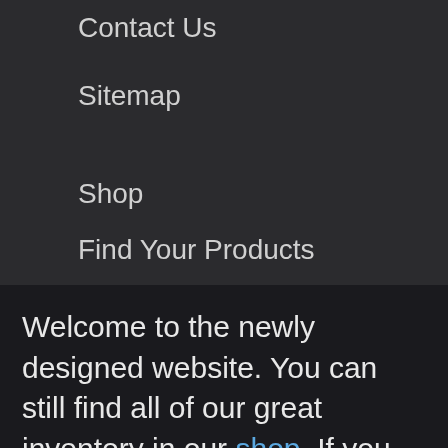Contact Us
Sitemap
Shop
Find Your Products
My Account
Cart/Checkout
Privacy Policy
Terms & Condition
Welcome to the newly designed website. You can still find all of our great inventory in our shop. If you have any problems, please feel free to contact us.
Thanks! Don't remind me again.